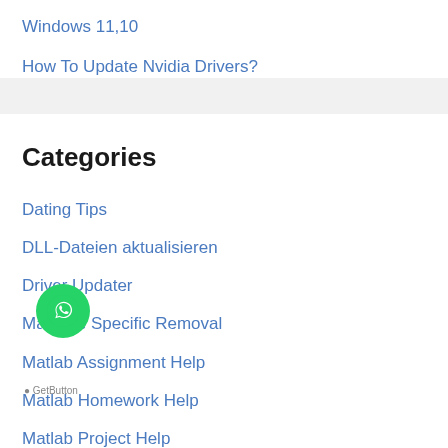Windows 11,10
How To Update Nvidia Drivers?
Categories
Dating Tips
DLL-Dateien aktualisieren
Driver Updater
Malware Specific Removal
Matlab Assignment Help
Matlab Homework Help
Matlab Project Help
Mise à jour DLL
[Figure (logo): WhatsApp GetButton widget overlay in bottom-left corner, green circular icon with WhatsApp logo and 'GetButton' label beneath]